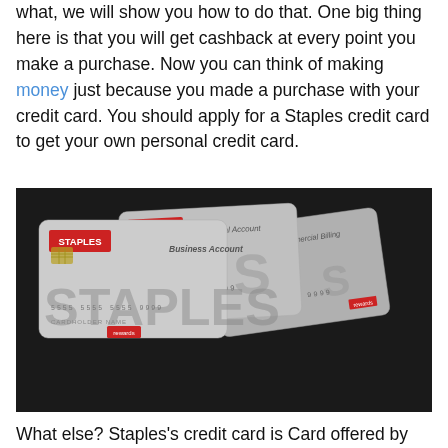what, we will show you how to do that. One big thing here is that you will get cashback at every point you make a purchase. Now you can think of making money just because you made a purchase with your credit card. You should apply for a Staples credit card to get your own personal credit card.
[Figure (photo): Three Staples credit cards fanned out against a black background: Business Account, Personal Account, and Commercial Billing cards, all silver with red STAPLES logo and rewards branding.]
What else? Staples's credit card is Card offered by